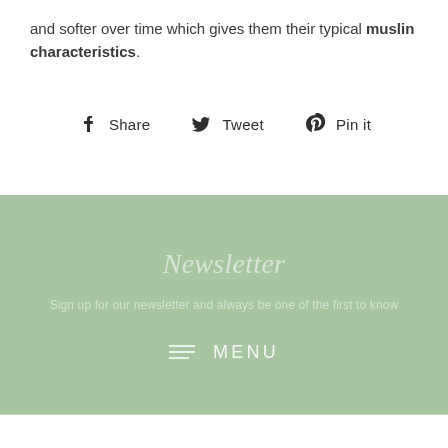and softer over time which gives them their typical muslin characteristics.
[Figure (infographic): Social share buttons: Facebook Share, Twitter Tweet, Pinterest Pin it]
Newsletter
Sign up for our newsletter and always be one of the first to know
MENU